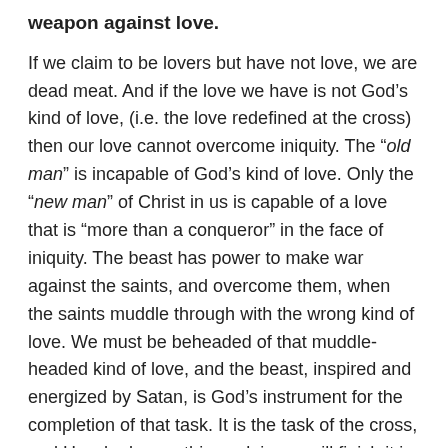weapon against love.
If we claim to be lovers but have not love, we are dead meat. And if the love we have is not God's kind of love, (i.e. the love redefined at the cross) then our love cannot overcome iniquity. The “old man” is incapable of God’s kind of love. Only the “new man” of Christ in us is capable of a love that is “more than a conqueror” in the face of iniquity. The beast has power to make war against the saints, and overcome them, when the saints muddle through with the wrong kind of love. We must be beheaded of that muddle-headed kind of love, and the beast, inspired and energized by Satan, is God’s instrument for the completion of that task. It is the task of the cross, and He who began this work in us, will finish it in us.